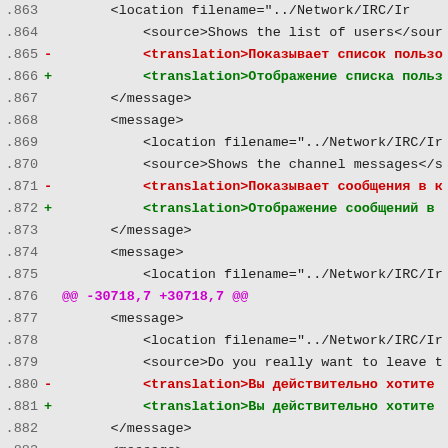[Figure (screenshot): Diff view of an XML translation file showing lines 863-883 with additions and removals of translation strings in Russian]
Code diff showing lines 863-883 of an XML localization file with IRC network messages